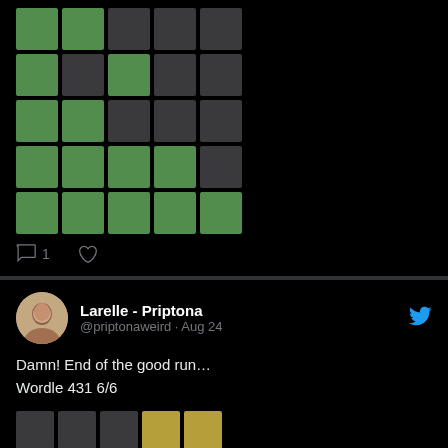[Figure (screenshot): Partial Twitter/social media post showing a Wordle grid (top portion clipped). Grid shows green and dark squares in a 5x6 pattern. Below are comment and like icons with '1' comment count.]
Larelle - Priptona @priptonaweird · Aug 24
Damn! End of the good run… Wordle 431 6/6
[Figure (screenshot): Wordle result grid 6x5: Row 1: dark dark dark yellow yellow. Row 2: dark green yellow dark dark. Row 3: yellow green dark dark yellow. Row 4: dark green green green dark. Row 5: dark green green green green. Row 6: green green green green green.]